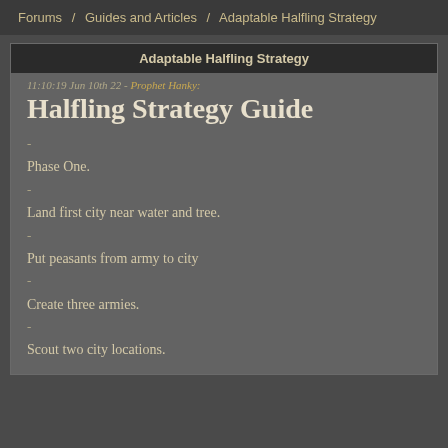Forums / Guides and Articles / Adaptable Halfling Strategy
Adaptable Halfling Strategy
11:10:19 Jun 10th 22 - Prophet Hanky:
Halfling Strategy Guide
-
Phase One.
-
Land first city near water and tree.
-
Put peasants from army to city
-
Create three armies.
-
Scout two city locations.